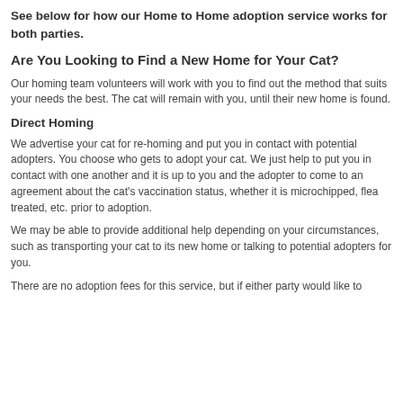See below for how our Home to Home adoption service works for both parties.
Are You Looking to Find a New Home for Your Cat?
Our homing team volunteers will work with you to find out the method that suits your needs the best. The cat will remain with you, until their new home is found.
Direct Homing
We advertise your cat for re-homing and put you in contact with potential adopters. You choose who gets to adopt your cat. We just help to put you in contact with one another and it is up to you and the adopter to come to an agreement about the cat's vaccination status, whether it is microchipped, flea treated, etc. prior to adoption.
We may be able to provide additional help depending on your circumstances, such as transporting your cat to its new home or talking to potential adopters for you.
There are no adoption fees for this service, but if either party would like to